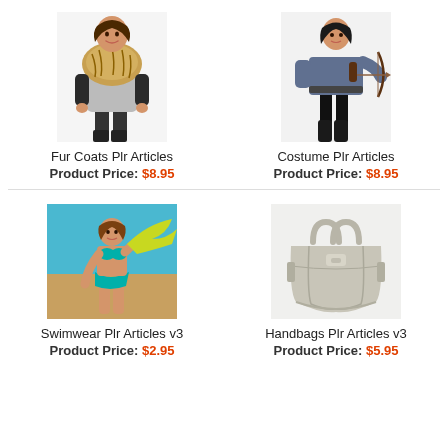[Figure (photo): Woman wearing a fur coat]
Fur Coats Plr Articles
Product Price: $8.95
[Figure (photo): Woman in a costume with bow and arrow]
Costume Plr Articles
Product Price: $8.95
[Figure (photo): Woman in swimwear on beach]
Swimwear Plr Articles v3
Product Price: $2.95
[Figure (photo): Silver/grey leather handbag]
Handbags Plr Articles v3
Product Price: $5.95